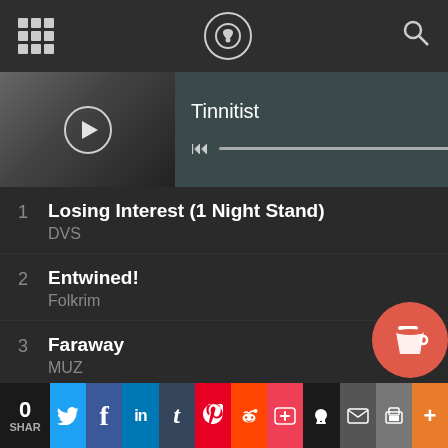[Figure (screenshot): Top navigation bar with grid menu icon, circular logo with shield/headphone icon, and search icon on dark background]
[Figure (screenshot): Music player bar showing album art thumbnail with play button, title 'Tinnitist', playback controls, progress bar, and share icon]
1  Losing Interest (1 Night Stand)  1:51
DVS
2  Entwined!  4:36
Folkrim
3  Faraway  2:58
MUZ
4  Nevermore  3:53
Rayka Blake
5  Menace  2:53
Trashed Ambulance
6  Substance  3:14
Fortium
0 SHAR  Twitter  Facebook  LinkedIn  Tumblr  Pinterest  Reddit  Pocket  Skull  Email  Print  More